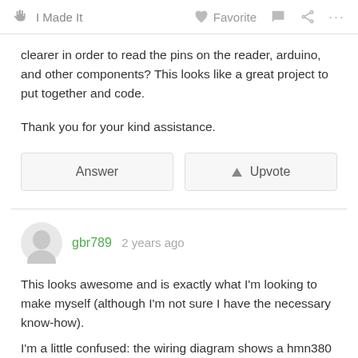I Made It    Favorite    ...
clearer in order to read the pins on the reader, arduino, and other components? This looks like a great project to put together and code.
Thank you for your kind assistance.
Answer    Upvote
gbr789  2 years ago
This looks awesome and is exactly what I'm looking to make myself (although I'm not sure I have the necessary know-how).
I'm a little confused: the wiring diagram shows a hmn380